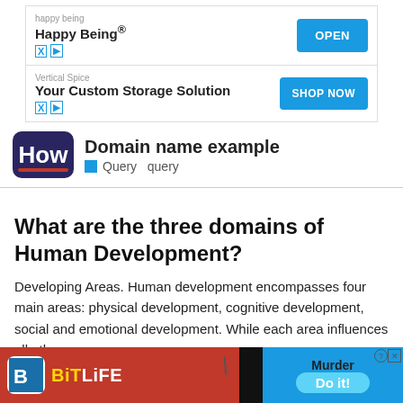[Figure (screenshot): Advertisement banner for 'Happy Being' app with OPEN button]
[Figure (screenshot): Advertisement banner for 'Vertical Spice - Your Custom Storage Solution' with SHOP NOW button]
Domain name example  Query  query
What are the three domains of Human Development?
Developing Areas. Human development encompasses four main areas: physical development, cognitive development, social and emotional development. While each area is distinct, they all overlap and influence one another.
[Figure (screenshot): BitLife game advertisement overlay with murder theme and Do it! button]